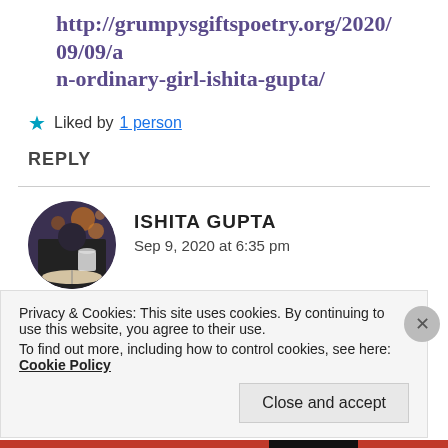http://grumpysgiftspoetry.org/2020/09/09/an-ordinary-girl-ishita-gupta/
Liked by 1 person
REPLY
ISHITA GUPTA
Sep 9, 2020 at 6:35 pm
Oh my goodness!! Thanks a ton dear Jeanne!!
Privacy & Cookies: This site uses cookies. By continuing to use this website, you agree to their use.
To find out more, including how to control cookies, see here: Cookie Policy
Close and accept